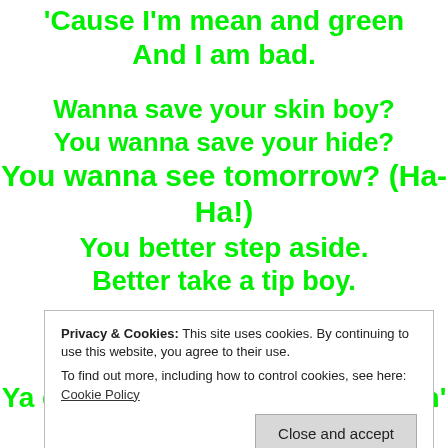'Cause I'm mean and green
And I am bad.

Wanna save your skin boy?
You wanna save your hide?
You wanna see tomorrow? (Ha-Ha!)
You better step aside.
Better take a tip boy.
Privacy & Cookies: This site uses cookies. By continuing to use this website, you agree to their use.
To find out more, including how to control cookies, see here: Cookie Policy
Ya don't know what you're dealin' with.